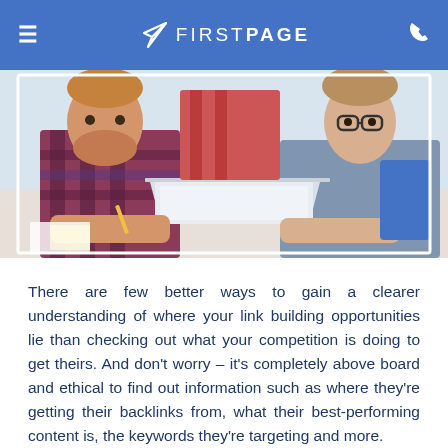FIRSTPAGE
[Figure (photo): Two people, a man and a woman, leaning over a laptop at a desk in an office or studio setting. The man is holding a pencil and wearing a plaid shirt; the woman is wearing glasses and a grey top.]
There are few better ways to gain a clearer understanding of where your link building opportunities lie than checking out what your competition is doing to get theirs. And don’t worry – it’s completely above board and ethical to find out information such as where they’re getting their backlinks from, what their best-performing content is, the keywords they’re targeting and more.
There are a few ways for you to find out this valuable